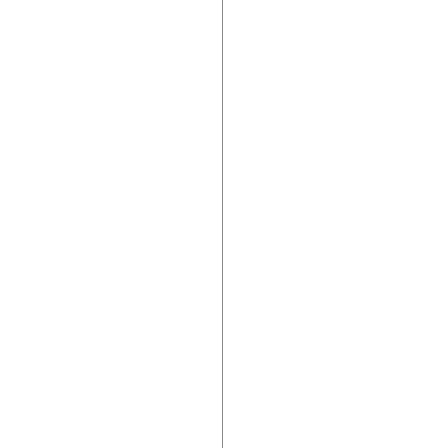The bank had made a loan of a large sum of money, taking as security stock in various enterprises, and this had caused the bank's capital to be impaired because the examiner threatened to close the bank if the impairment was not made good, either by payment of the loan. Unwilling to take the latter course, apprehensive that such a course would unduly depreciate the stock, and so seriously lessen the value of the security that it caused the trust company, which held a large amount thereof, to advance the required amount to pay off the loan. At the same time the society appointed as directors Hyde, Fitzgerald, John E. Searles, and Markoe Turner, and of these, Hyde, Hartley, and Fitzgerald were also members of the board. Hyde was also the president. Fitzgerald died in May, 1899, and Hartley, it is stated, died before the estates have been distributed. Hyde was the president of the company, of which the latter was also a director.
Some time after the loan was transferred Hyde expressed his disapproval of Turner's financial methods. The loan had been at various times increased and Hyde objected because the enterprises represented by the stock were unprofitable, to induce the trust company to extend the loan. The loan was referred to, at the request of the society and its officers, and upon its promise to indemni